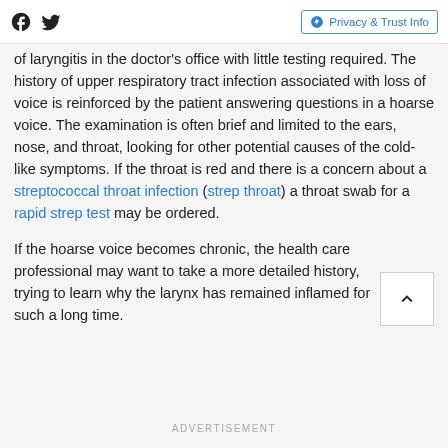Social icons (Facebook, Twitter) | Privacy & Trust Info
of laryngitis in the doctor's office with little testing required. The history of upper respiratory tract infection associated with loss of voice is reinforced by the patient answering questions in a hoarse voice. The examination is often brief and limited to the ears, nose, and throat, looking for other potential causes of the cold-like symptoms. If the throat is red and there is a concern about a streptococcal throat infection (strep throat) a throat swab for a rapid strep test may be ordered.
If the hoarse voice becomes chronic, the health care professional may want to take a more detailed history, trying to learn why the larynx has remained inflamed for such a long time.
ADVERTISEMENT